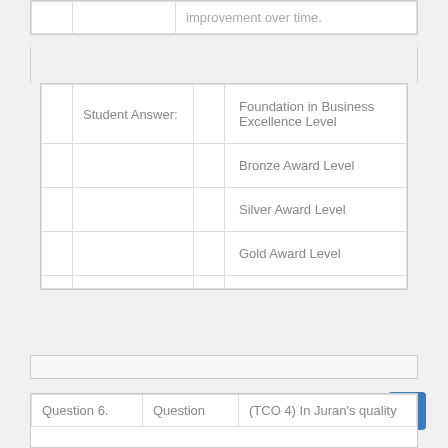|  |  | improvement over time. |
|  | Student Answer: |  | Foundation in Business Excellence Level |
|  |  |  | Bronze Award Level |
|  |  |  | Silver Award Level |
|  |  |  | Gold Award Level |
|  |  |  |  |
| Question 6. | Question | (TCO 4) In Juran's quality |